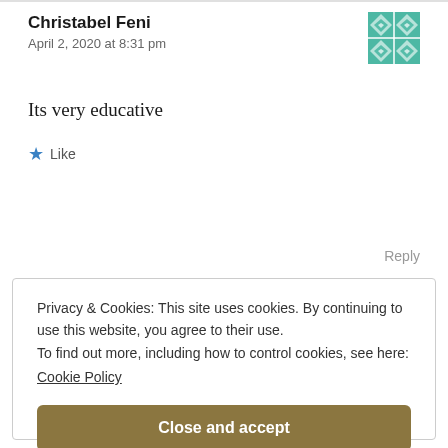Christabel Feni
April 2, 2020 at 8:31 pm
Its very educative
★ Like
Reply
Privacy & Cookies: This site uses cookies. By continuing to use this website, you agree to their use.
To find out more, including how to control cookies, see here:
Cookie Policy
Close and accept